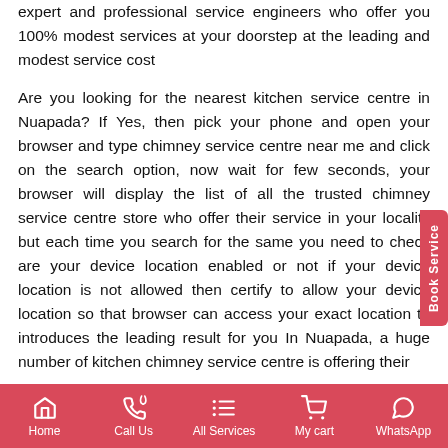expert and professional service engineers who offer you 100% modest services at your doorstep at the leading and modest service cost
Are you looking for the nearest kitchen service centre in Nuapada? If Yes, then pick your phone and open your browser and type chimney service centre near me and click on the search option, now wait for few seconds, your browser will display the list of all the trusted chimney service centre store who offer their service in your locality but each time you search for the same you need to check are your device location enabled or not if your device location is not allowed then certify to allow your device location so that browser can access your exact location to introduces the leading result for you In Nuapada, a huge number of kitchen chimney service centre is offering their
Home | Call Us | All Services | My cart | WhatsApp